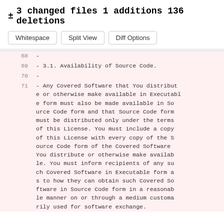± 3 changed files 1 additions 136 deletions
Whitespace  Split View  Diff Options
68  -
69  - 3.1. Availability of Source Code.
70  -
71  - Any Covered Software that You distribute or otherwise make available in Executable form must also be made available in Source Code form and that Source Code form must be distributed only under the terms of this License. You must include a copy of this License with every copy of the Source Code form of the Covered Software You distribute or otherwise make available. You must inform recipients of any such Covered Software in Executable form as to how they can obtain such Covered Software in Source Code form in a reasonable manner on or through a medium customarily used for software exchange.